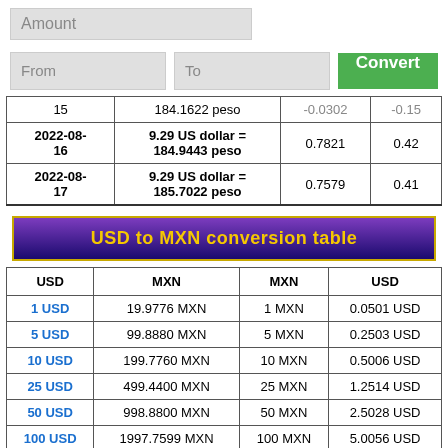Amount
From | To | Convert
| Date | Rate | Col3 | Col4 |
| --- | --- | --- | --- |
| 15 | 184.1622 peso | -0.0302 | -0.15 |
| 2022-08-16 | 9.29 US dollar = 184.9443 peso | 0.7821 | 0.42 |
| 2022-08-17 | 9.29 US dollar = 185.7022 peso | 0.7579 | 0.41 |
USD to MXN conversion table
| USD | MXN | MXN | USD |
| --- | --- | --- | --- |
| 1 USD | 19.9776 MXN | 1 MXN | 0.0501 USD |
| 5 USD | 99.8880 MXN | 5 MXN | 0.2503 USD |
| 10 USD | 199.7760 MXN | 10 MXN | 0.5006 USD |
| 25 USD | 499.4400 MXN | 25 MXN | 1.2514 USD |
| 50 USD | 998.8800 MXN | 50 MXN | 2.5028 USD |
| 100 USD | 1997.7599 MXN | 100 MXN | 5.0056 USD |